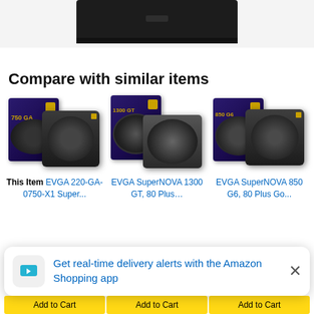[Figure (photo): Top portion of a black rectangular product (power supply unit) shown from above, with a small indentation/latch visible on top edge. Black background product image cropped at top.]
Compare with similar items
[Figure (photo): EVGA 750 GA power supply unit product image showing box and unit side by side on white background.]
[Figure (photo): EVGA SuperNOVA 1300 GT power supply unit product image showing box and unit side by side on white background.]
[Figure (photo): EVGA SuperNOVA 850 G6 power supply unit product image showing box and unit side by side on white background.]
This Item  EVGA 220-GA-0750-X1 Super...
EVGA SuperNOVA 1300 GT, 80 Plus...
EVGA SuperNOVA 850 G6, 80 Plus Go...
Get real-time delivery alerts with the Amazon Shopping app
Add to Cart
Add to Cart
Add to Cart